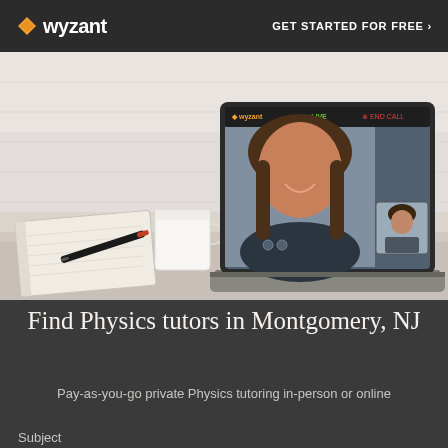wyzant  GET STARTED FOR FREE ›
[Figure (photo): Hero image showing a laptop with a video tutoring session on screen, a notebook, pen, and mug on a desk with a white brick wall background]
Find Physics tutors in Montgomery, NJ
Pay-as-you-go private Physics tutoring in-person or online
Subject